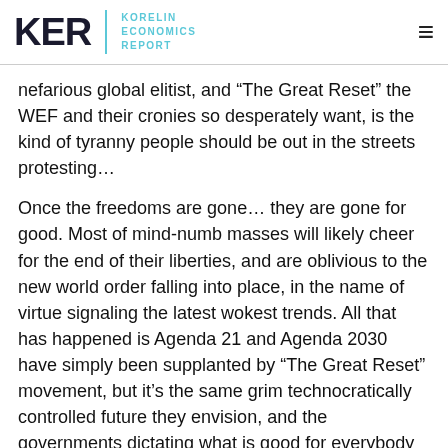KER | KORELIN ECONOMICS REPORT
nefarious global elitist, and “The Great Reset” the WEF and their cronies so desperately want, is the kind of tyranny people should be out in the streets protesting…
Once the freedoms are gone… they are gone for good. Most of mind-numb masses will likely cheer for the end of their liberties, and are oblivious to the new world order falling into place, in the name of virtue signaling the latest wokest trends. All that has happened is Agenda 21 and Agenda 2030 have simply been supplanted by “The Great Reset” movement, but it’s the same grim technocratically controlled future they envision, and the governments dictating what is good for everybody and the planet. It’s disgusting really, but still being met